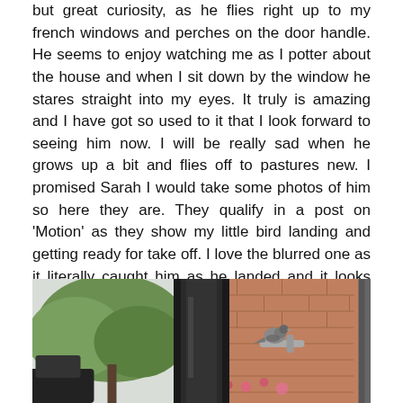but great curiosity, as he flies right up to my french windows and perches on the door handle. He seems to enjoy watching me as I potter about the house and when I sit down by the window he stares straight into my eyes. It truly is amazing and I have got so used to it that I look forward to seeing him now. I will be really sad when he grows up a bit and flies off to pastures new. I promised Sarah I would take some photos of him so here they are. They qualify in a post on 'Motion' as they show my little bird landing and getting ready for take off. I love the blurred one as it literally caught him as he landed and it looks like he had to do an emergency stop!
[Figure (photo): Three photos side by side: left photo shows a tree with green foliage against a pale sky with a dark object below; center photo shows a dark door frame or window frame in close-up; right photo shows a small bird perched on a door handle against a brick wall background with flowers.]